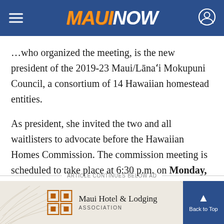MAUI NOW
...who organized the meeting, is the new president of the 2019-23 Maui/Lānaʻi Mokupuni Council, a consortium of 14 Hawaiian homestead entities.
As president, she invited the two and all waitlisters to advocate before the Hawaiian Homes Commission. The commission meeting is scheduled to take place at 6:30 p.m. on Monday, Nov. 18 at the Kula Community Center.
ARTICLE CONTINUES BELOW AD
[Figure (logo): Maui Hotel & Lodging Association advertisement banner with logo and decorative palm leaf background]